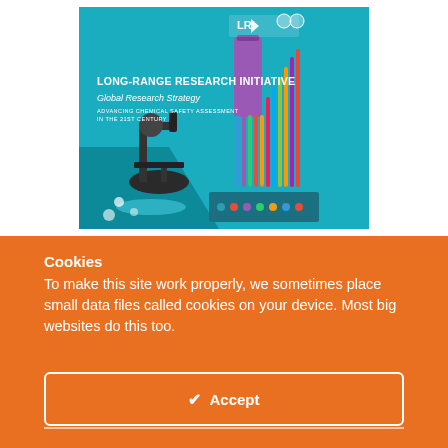[Figure (illustration): Cover of LRI (Long-Range Research Initiative) Global Research Strategy document. Teal/cyan background with bold white text 'LONG-RANGE RESEARCH INITIATIVE', subtitle 'Global Research Strategy', and smaller text 'ADVANCING CHEMICAL SAFETY ASSESSMENT IN THE 21ST CENTURY'. Background shows laboratory images: a microscope on the left and multi-channel pipette dispensing colorful liquid into a microplate on the right. LRI and ECCC logos at the top.]
Cookies
To make this site work properly, we sometimes place small data files called cookies on your device. Most big websites do this too.